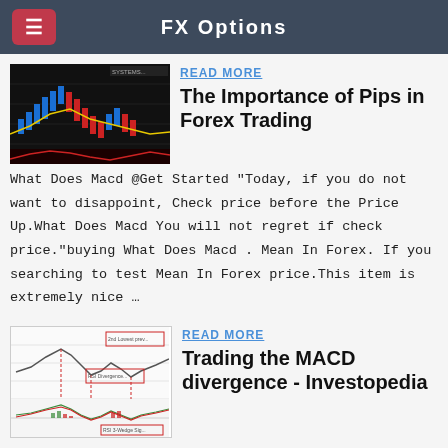FX Options
[Figure (screenshot): Forex candlestick chart with blue and red candles and a red indicator line at the bottom, dark background.]
The Importance of Pips in Forex Trading
What Does Macd @Get Started "Today, if you do not want to disappoint, Check price before the Price Up.What Does Macd You will not regret if check price."buying What Does Macd . Mean In Forex. If you searching to test Mean In Forex price.This item is extremely nice …
[Figure (screenshot): MACD divergence chart from Investopedia showing price chart with red dashed annotations and MACD histogram below.]
Trading the MACD divergence - Investopedia
2019/03/01 · does RSI repaint Trading Discussion. Depending on your settings and time frame, any oscillating indicator